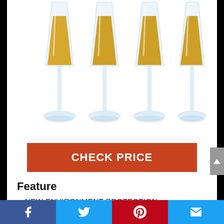[Figure (photo): Four champagne flute glasses filled with golden/amber liquid arranged side by side on white background]
CHECK PRICE
Feature
NEW ENVIRONMENT PROTECTION
[Figure (other): Social media share bar with Facebook, Twitter, Pinterest, and email icons]